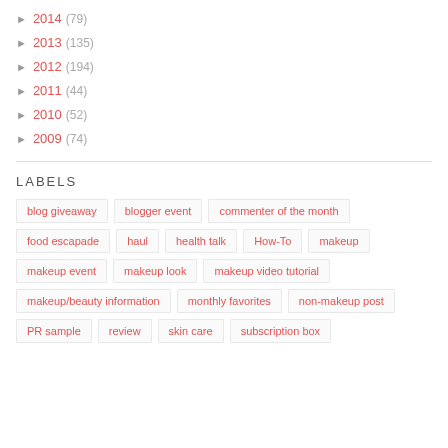► 2014 (79)
► 2013 (135)
► 2012 (194)
► 2011 (44)
► 2010 (52)
► 2009 (74)
LABELS
blog giveaway
blogger event
commenter of the month
food escapade
haul
health talk
How-To
makeup
makeup event
makeup look
makeup video tutorial
makeup/beauty information
monthly favorites
non-makeup post
PR sample
review
skin care
subscription box